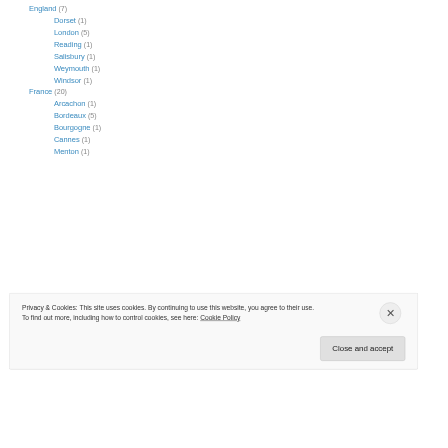England (7)
Dorset (1)
London (5)
Reading (1)
Salisbury (1)
Weymouth (1)
Windsor (1)
France (20)
Arcachon (1)
Bordeaux (5)
Bourgogne (1)
Cannes (1)
Menton (1)
Privacy & Cookies: This site uses cookies. By continuing to use this website, you agree to their use. To find out more, including how to control cookies, see here: Cookie Policy